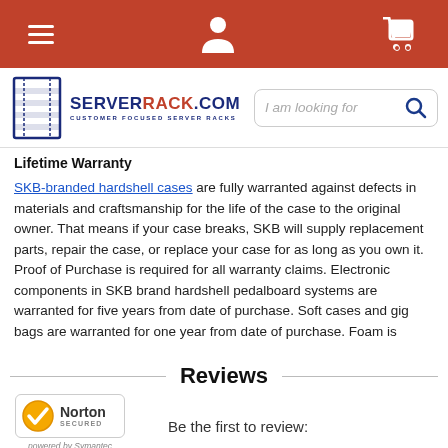Navigation bar with hamburger menu, user icon, and cart icon
[Figure (logo): ServerRack.com logo with server rack graphic and search bar]
Lifetime Warranty
SKB-branded hardshell cases are fully warranted against defects in materials and craftsmanship for the life of the case to the original owner. That means if your case breaks, SKB will supply replacement parts, repair the case, or replace your case for as long as you own it. Proof of Purchase is required for all warranty claims. Electronic components in SKB brand hardshell pedalboard systems are warranted for five years from date of purchase. Soft cases and gig bags are warranted for one year from date of purchase. Foam is
Reviews
[Figure (logo): Norton Secured powered by Symantec badge]
Be the first to review: